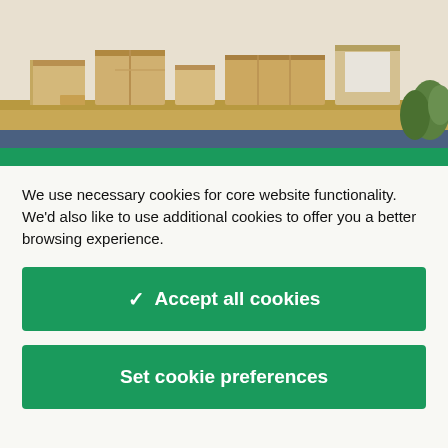[Figure (photo): Wooden desk organizers and storage boxes arranged on a light wooden desk surface, with a plant visible in the background]
We use necessary cookies for core website functionality. We'd also like to use additional cookies to offer you a better browsing experience.
✓ Accept all cookies
Set cookie preferences